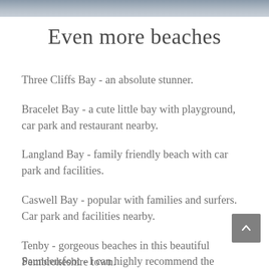[Figure (photo): Partial photo strip at top of page showing a beach scene]
Even more beaches
Three Cliffs Bay - an absolute stunner.
Bracelet Bay - a cute little bay with playground, car park and restaurant nearby.
Langland Bay - family friendly beach with car park and facilities.
Caswell Bay - popular with families and surfers. Car park and facilities nearby.
Tenby - gorgeous beaches in this beautiful Pembrokeshire town.
Saundersfoot - I can highly recommend the